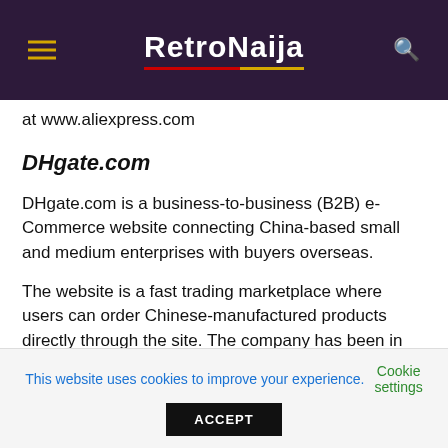RetroNaija
at www.aliexpress.com
DHgate.com
DHgate.com is a business-to-business (B2B) e-Commerce website connecting China-based small and medium enterprises with buyers overseas.
The website is a fast trading marketplace where users can order Chinese-manufactured products directly through the site. The company has been in business since 2004 and is backed by investors KPCB, JAFCO and Warburg Pincus.
This website uses cookies to improve your experience. Cookie settings ACCEPT